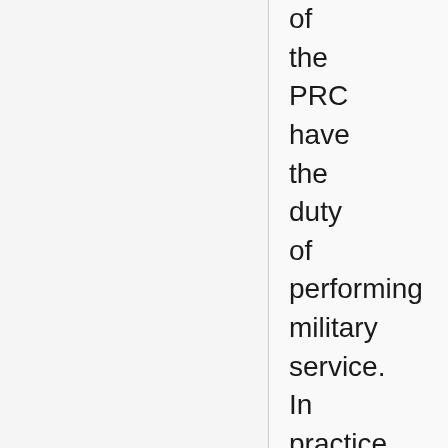of the PRC have the duty of performing military service. In practice, military service with the